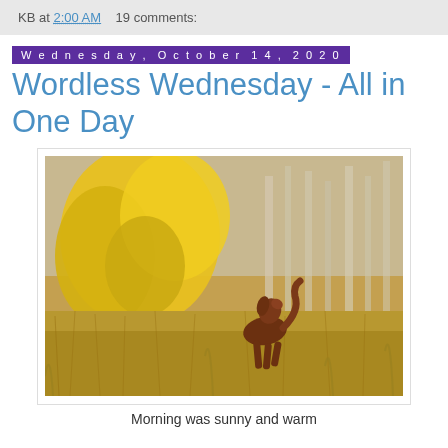KB at 2:00 AM    19 comments:
Wednesday, October 14, 2020
Wordless Wednesday - All in One Day
[Figure (photo): A brown dog running through golden autumn grass with bright yellow aspen trees and bare birch trees in the background.]
Morning was sunny and warm